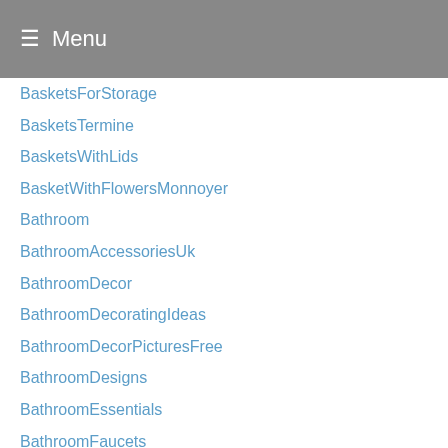Menu
BasketsForStorage
BasketsTermine
BasketsWithLids
BasketWithFlowersMonnoyer
Bathroom
BathroomAccessoriesUk
BathroomDecor
BathroomDecoratingIdeas
BathroomDecorPicturesFree
BathroomDesigns
BathroomEssentials
BathroomFaucets
BathroomFlooring
BathroomIdeas
bathroominspiration
BathroomItem
BathroomOrganizersWallMount